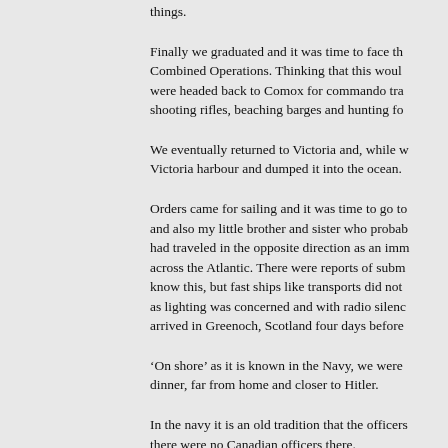things.
Finally we graduated and it was time to face the Combined Operations. Thinking that this would were headed back to Comox for commando tra shooting rifles, beaching barges and hunting fo
We eventually returned to Victoria and, while w Victoria harbour and dumped it into the ocean.
Orders came for sailing and it was time to go to and also my little brother and sister who probab had traveled in the opposite direction as an imm across the Atlantic. There were reports of subm know this, but fast ships like transports did not as lighting was concerned and with radio silenc arrived in Greenoch, Scotland four days before
‘On shore’ as it is known in the Navy, we were dinner, far from home and closer to Hitler.
In the navy it is an old tradition that the officers there were no Canadian officers there.
The Canadian navy had a barracks in Scotland we stayed a couple of days on our way back to